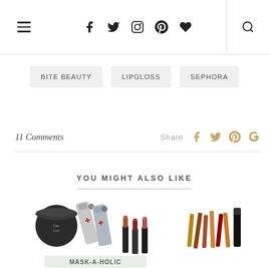Navigation header with hamburger menu, social icons (Facebook, Twitter, Instagram, Pinterest, Heart), and search icon
BITE BEAUTY   LIPGLOSS   SEPHORA
11 Comments   Share
YOU MIGHT ALSO LIKE
[Figure (photo): Assorted beauty and makeup products including a round black jar, silver tubes with red accents, lipsticks, and a sign reading MASK-A-HOLIC]